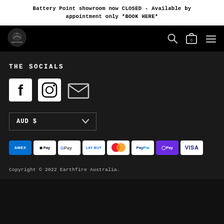Battery Point showroom now CLOSED - Available by appointment only *BOOK HERE*
[Figure (logo): Earthfire Australia logo — stylized animal silhouette with text, white on black]
THE SOCIALS
[Figure (infographic): Social media icons: Facebook, Instagram, Email]
AUD $
[Figure (infographic): Payment method logos: American Express, Apple Pay, Google Pay, Lay-Buy, Mastercard, PayPal, OPay, Visa]
Copyright © 2022 Earthfire Australia.